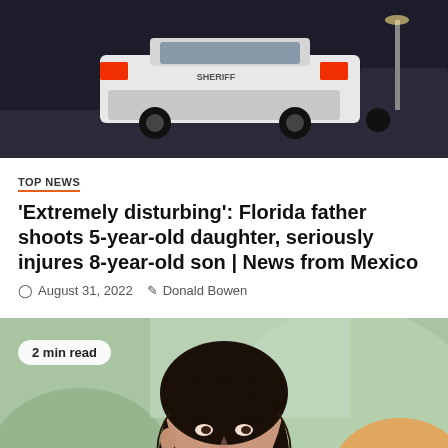[Figure (photo): Night scene with a white sheriff police car viewed from behind, with red taillights, parked on a street at night]
TOP NEWS
'Extremely disturbing': Florida father shoots 5-year-old daughter, seriously injures 8-year-old son | News from Mexico
August 31, 2022   Donald Bowen
[Figure (photo): Portrait of a young dark-haired woman with bangs looking over her shoulder, outdoors with soft blurred background]